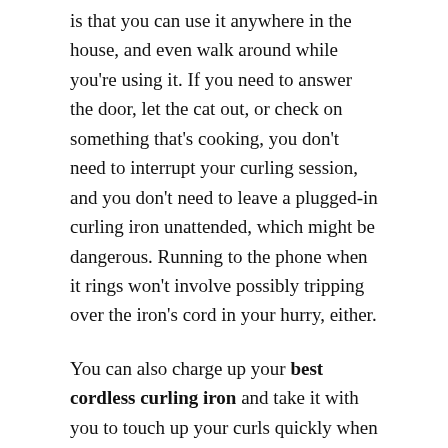is that you can use it anywhere in the house, and even walk around while you're using it. If you need to answer the door, let the cat out, or check on something that's cooking, you don't need to interrupt your curling session, and you don't need to leave a plugged-in curling iron unattended, which might be dangerous. Running to the phone when it rings won't involve possibly tripping over the iron's cord in your hurry, either.
You can also charge up your best cordless curling iron and take it with you to touch up your curls quickly when you're away from the house. You won't need to find an electric outlet in order to get your wave or curl back in order if it gets messed up or if some of it relaxes unexpectedly. You can touch up your hair anywhere from a bathroom to a hallway to the seat of your car with a hand-mirror when you are sitting in a parking lot.